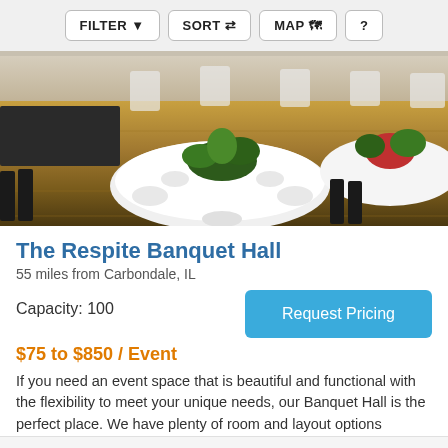FILTER  SORT  MAP  ?
[Figure (photo): Interior of The Respite Banquet Hall showing round tables with white tablecloths, folding chairs, a centerpiece plant arrangement, and hardwood floors]
The Respite Banquet Hall
55 miles from Carbondale, IL
Capacity: 100
Request Pricing
$75 to $850 / Event
If you need an event space that is beautiful and functional with the flexibility to meet your unique needs, our Banquet Hall is the perfect place. We have plenty of room and layout options
Banquet/Event Hall (+1)
[Figure (photo): Partially visible photo of another venue listing below]